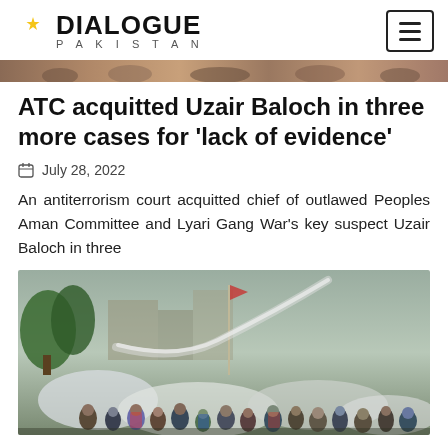DIALOGUE PAKISTAN
[Figure (photo): Partial strip of a crowd/protest photo at top of page]
ATC acquitted Uzair Baloch in three more cases for ‘lack of evidence’
July 28, 2022
An antiterrorism court acquitted chief of outlawed Peoples Aman Committee and Lyari Gang War’s key suspect Uzair Baloch in three
[Figure (photo): Crowd of people with tear gas smoke and a gas canister trail in the air, outdoor protest scene]